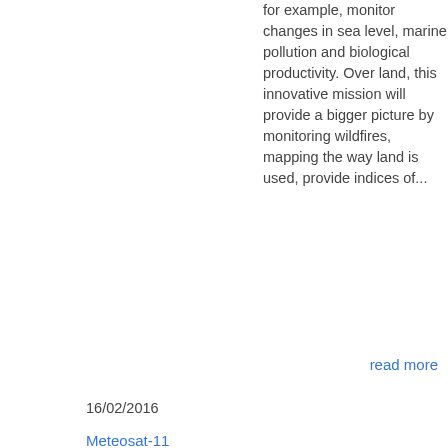for example, monitor changes in sea level, marine pollution and biological productivity. Over land, this innovative mission will provide a bigger picture by monitoring wildfires, mapping the way land is used, provide indices of...
read more
16/02/2016
Meteosat-11